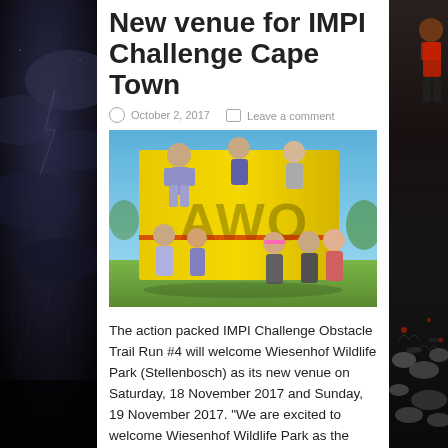New venue for IMPI Challenge Cape Town
October 2, 2017   Leave a comment
[Figure (photo): Participants climbing over a large yellow wall obstacle during the IMPI Challenge obstacle trail run event, outdoors on a sunny day.]
The action packed IMPI Challenge Obstacle Trail Run #4 will welcome Wiesenhof Wildlife Park (Stellenbosch) as its new venue on Saturday, 18 November 2017 and Sunday, 19 November 2017. “We are excited to welcome Wiesenhof Wildlife Park as the official venue of the IMPI Challenge in November,” says Pieter Du Plessis, IMPI Challenge Race Director. “The IMPI Challenge is an ...